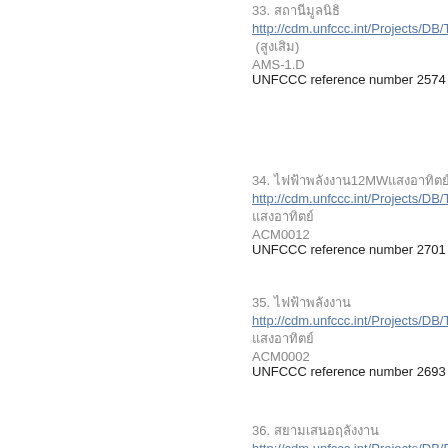33. [Thai text]
http://cdm.unfccc.int/Projects/DB/TUEV-S...
([Thai text])
AMS-1.D
UNFCCC reference number 2574
34. [Thai text]12MW[Thai text]
http://cdm.unfccc.int/Projects/DB/TUEV-S...
[Thai text]
ACM0012
UNFCCC reference number 2701
35. [Thai text]
http://cdm.unfccc.int/Projects/DB/TUEV-S...
[Thai text]
ACM0002
UNFCCC reference number 2693
36. [Thai text]
http://cdm.unfccc.int/Projects/DB/DNV-CU...
[Thai text]
AMS-1D
UNFCCC reference number 2466
37. [Thai text]
http://cdm.unfccc.int/Projects/DB/TUEV-S...
([Thai text])
ACM0002
UNFCCC reference number 2501
38. [Thai text]
http://cdm.unfccc.int/Projects/DB/TUEV-S...
([Thai text])